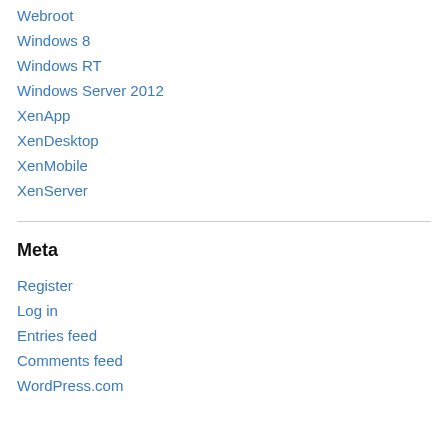Webroot
Windows 8
Windows RT
Windows Server 2012
XenApp
XenDesktop
XenMobile
XenServer
Meta
Register
Log in
Entries feed
Comments feed
WordPress.com